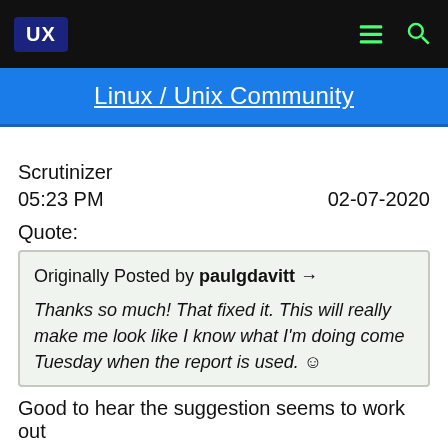UX | Linux / Unix Community
Scrutinizer
05:23 PM   02-07-2020
Quote:
Originally Posted by paulgdavitt → Thanks so much! That fixed it. This will really make me look like I know what I'm doing come Tuesday when the report is used. 🙂
Good to hear the suggestion seems to work out